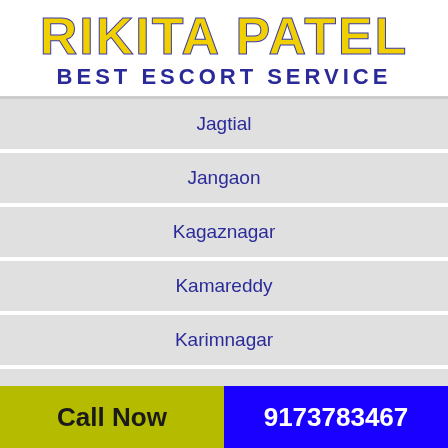RIKITA PATEL
BEST ESCORT SERVICE
Jagtial
Jangaon
Kagaznagar
Kamareddy
Karimnagar
Khammam
Call Now   9173783467